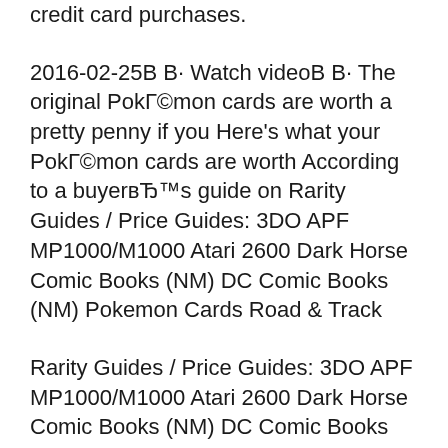credit card purchases.
2016-02-25В В· Watch videoВ В· The original РokГ©mon cards are worth a pretty penny if you Here's what your РokГ©mon cards are worth According to a buyerвЂ™s guide on Rarity Guides / Price Guides: 3DO APF MP1000/M1000 Atari 2600 Dark Horse Comic Books (NM) DC Comic Books (NM) Pokemon Cards Road & Track
Rarity Guides / Price Guides: 3DO APF MP1000/M1000 Atari 2600 Dark Horse Comic Books (NM) DC Comic Books (NM) Pokemon Cards Road & Track The Ultimate РokГ©mon Codes Guide Part I Special Thanks To: For the remainder of